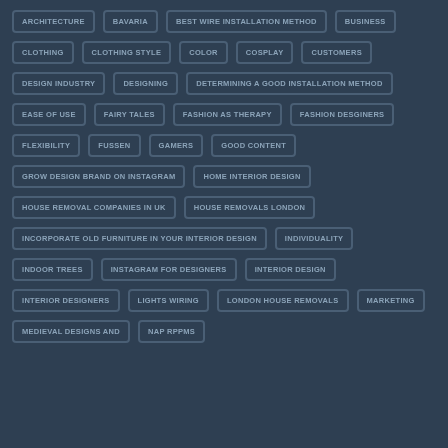ARCHITECTURE
BAVARIA
BEST WIRE INSTALLATION METHOD
BUSINESS
CLOTHING
CLOTHING STYLE
COLOR
COSPLAY
CUSTOMERS
DESIGN INDUSTRY
DESIGNING
DETERMINING A GOOD INSTALLATION METHOD
EASE OF USE
FAIRY TALES
FASHION AS THERAPY
FASHION DESGINERS
FLEXIBILITY
FUSSEN
GAMERS
GOOD CONTENT
GROW DESIGN BRAND ON INSTAGRAM
HOME INTERIOR DESIGN
HOUSE REMOVAL COMPANIES IN UK
HOUSE REMOVALS LONDON
INCORPORATE OLD FURNITURE IN YOUR INTERIOR DESIGN
INDIVIDUALITY
INDOOR TREES
INSTAGRAM FOR DESIGNERS
INTERIOR DESIGN
INTERIOR DESIGNERS
LIGHTS WIRING
LONDON HOUSE REMOVALS
MARKETING
MEDIEVAL DESIGNS AND
NAP RPPMS